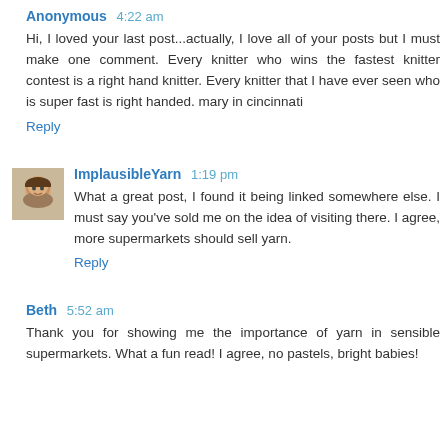Anonymous 4:22 am
Hi, I loved your last post...actually, I love all of your posts but I must make one comment. Every knitter who wins the fastest knitter contest is a right hand knitter. Every knitter that I have ever seen who is super fast is right handed. mary in cincinnati
Reply
ImplausibleYarn 1:19 pm
What a great post, I found it being linked somewhere else. I must say you've sold me on the idea of visiting there. I agree, more supermarkets should sell yarn.
Reply
Beth 5:52 am
Thank you for showing me the importance of yarn in sensible supermarkets. What a fun read! I agree, no pastels, bright babies!